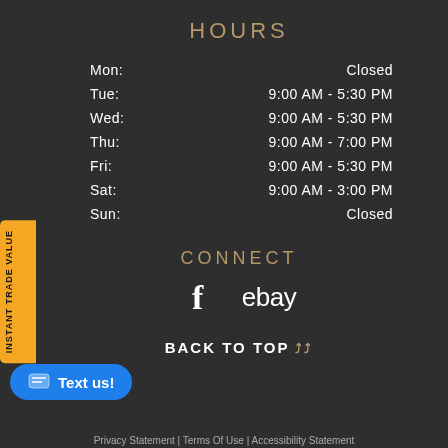HOURS
| Day | Hours |
| --- | --- |
| Mon: | Closed |
| Tue: | 9:00 AM - 5:30 PM |
| Wed: | 9:00 AM - 5:30 PM |
| Thu: | 9:00 AM - 7:00 PM |
| Fri: | 9:00 AM - 5:30 PM |
| Sat: | 9:00 AM - 3:00 PM |
| Sun: | Closed |
CONNECT
[Figure (logo): Facebook logo (f) and eBay logo]
BACK TO TOP ∧∧
Text us!
Privacy Statement | Terms Of Use | Accessibility Statement